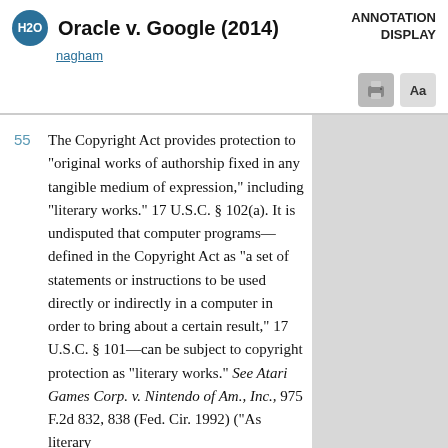Oracle v. Google (2014)
nagham
ANNOTATION DISPLAY
55   The Copyright Act provides protection to "original works of authorship fixed in any tangible medium of expression," including "literary works." 17 U.S.C. § 102(a). It is undisputed that computer programs— defined in the Copyright Act as "a set of statements or instructions to be used directly or indirectly in a computer in order to bring about a certain result," 17 U.S.C. § 101—can be subject to copyright protection as "literary works." See Atari Games Corp. v. Nintendo of Am., Inc., 975 F.2d 832, 838 (Fed. Cir. 1992) ("As literary